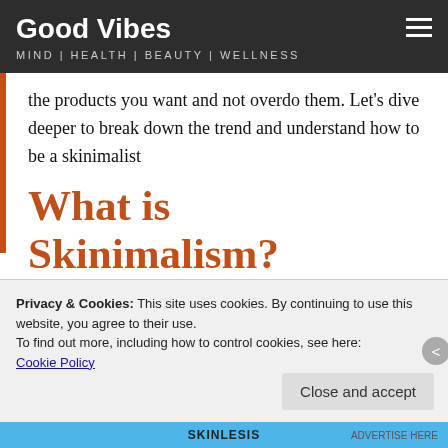Good Vibes
MIND | HEALTH | BEAUTY | WELLNESS
the products you want and not overdo them. Let's dive deeper to break down the trend and understand how to be a skinimalist
What is Skinimalism?
Skinimalism is a new wave of natural, minimal,
Privacy & Cookies: This site uses cookies. By continuing to use this website, you agree to their use.
To find out more, including how to control cookies, see here:
Cookie Policy
Close and accept